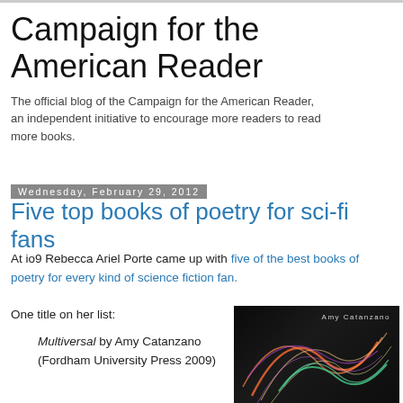Campaign for the American Reader
The official blog of the Campaign for the American Reader, an independent initiative to encourage more readers to read more books.
Wednesday, February 29, 2012
Five top books of poetry for sci-fi fans
At io9 Rebecca Ariel Porte came up with five of the best books of poetry for every kind of science fiction fan.
One title on her list:
Multiversal by Amy Catanzano (Fordham University Press 2009)
[Figure (photo): Book cover of Multiversal by Amy Catanzano, dark background with colorful light streaks]